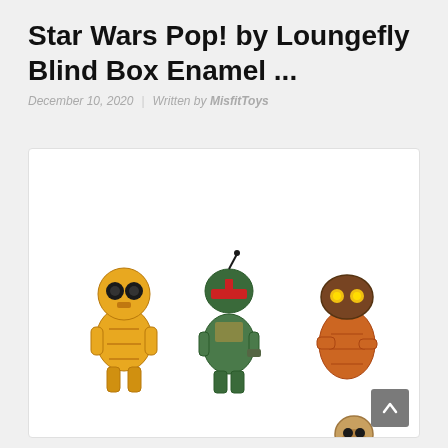Star Wars Pop! by Loungefly Blind Box Enamel ...
December 10, 2020 | Written by MisfitToys
[Figure (photo): Six Star Wars Funko Pop! enamel pin figures arranged in two rows: top row shows C-3PO (gold droid), Boba Fett (green/red bounty hunter), and a Jawa (brown-robed figure with yellow eyes); bottom row shows Yoda (green, large ears), an Ewok (brown teddy bear-like figure), and Chewbacca riding an AT-ST walker (tan wookiee on silver robot legs).]